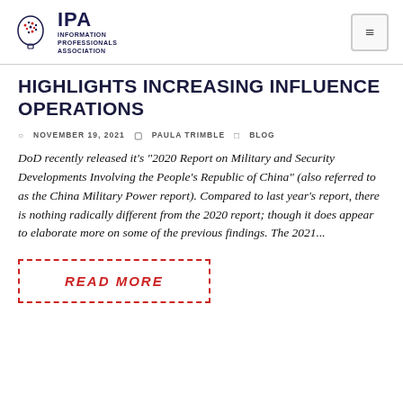IPA Information Professionals Association
HIGHLIGHTS INCREASING INFLUENCE OPERATIONS
NOVEMBER 19, 2021   PAULA TRIMBLE   BLOG
DoD recently released it’s “2020 Report on Military and Security Developments Involving the People’s Republic of China” (also referred to as the China Military Power report). Compared to last year’s report, there is nothing radically different from the 2020 report; though it does appear to elaborate more on some of the previous findings. The 2021…
READ MORE